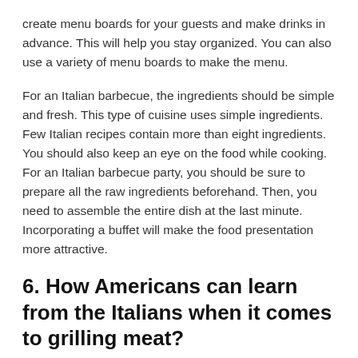create menu boards for your guests and make drinks in advance. This will help you stay organized. You can also use a variety of menu boards to make the menu.
For an Italian barbecue, the ingredients should be simple and fresh. This type of cuisine uses simple ingredients. Few Italian recipes contain more than eight ingredients. You should also keep an eye on the food while cooking. For an Italian barbecue party, you should be sure to prepare all the raw ingredients beforehand. Then, you need to assemble the entire dish at the last minute. Incorporating a buffet will make the food presentation more attractive.
6. How Americans can learn from the Italians when it comes to grilling meat?
The Italians don't use complicated marinades and prefer natural flavors when grilling meat. When selecting a marinade, the main ingredient should be top-quality. You don't want to sacrifice the flavor of your food by using a bad marinade.